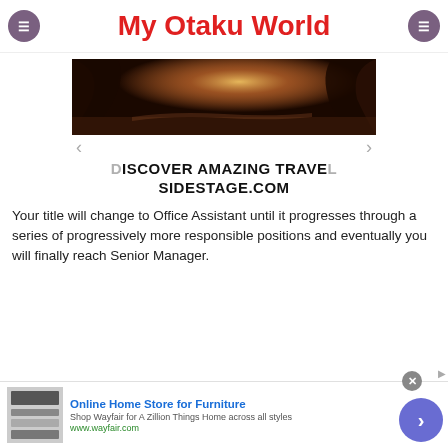My Otaku World
[Figure (photo): Canyon landscape with warm reddish-orange light, appearing to be a slot canyon or rocky terrain with sunlight streaming through.]
DISCOVER AMAZING TRAVEL SIDESTAGE.COM
Your title will change to Office Assistant until it progresses through a series of progressively more responsible positions and eventually you will finally reach Senior Manager.
[Figure (screenshot): Advertisement for Wayfair - Online Home Store for Furniture. Text: Shop Wayfair for A Zillion Things Home across all styles. www.wayfair.com]